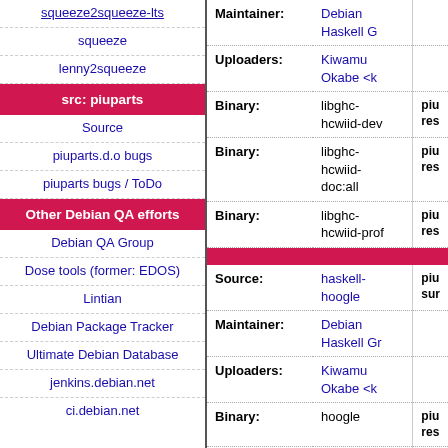squeeze2squeeze-lts
squeeze
lenny2squeeze
src: piuparts
Source
piuparts.d.o bugs
piuparts bugs / ToDo
Other Debian QA efforts
Debian QA Group
Dose tools (former: EDOS)
Lintian
Debian Package Tracker
Ultimate Debian Database
jenkins.debian.net
ci.debian.net
| Field | Value | Extra |
| --- | --- | --- |
| Maintainer: | Debian Haskell G |  |
| Uploaders: | Kiwamu Okabe <k |  |
| Binary: | libghc-hcwiid-dev | piu res |
| Binary: | libghc-hcwiid-doc:all | piu res |
| Binary: | libghc-hcwiid-prof | piu res |
| Source: | haskell-hoogle | piu sur |
| Maintainer: | Debian Haskell Gr |  |
| Uploaders: | Kiwamu Okabe <k |  |
| Binary: | hoogle | piu res |
| Binary: | libghc-hoogle-dev | piu res |
| Binary: | libghc-hoogle- | piu res |